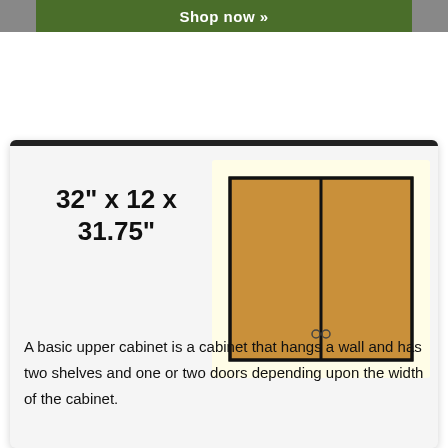Shop now »
32" x 12 x 31.75"
[Figure (illustration): Front view of a basic upper cabinet with two wooden doors side by side, a center divider, two door knobs at the bottom center, shown against a light yellow background.]
A basic upper cabinet is a cabinet that hangs a wall and has two shelves and one or two doors depending upon the width of the cabinet.